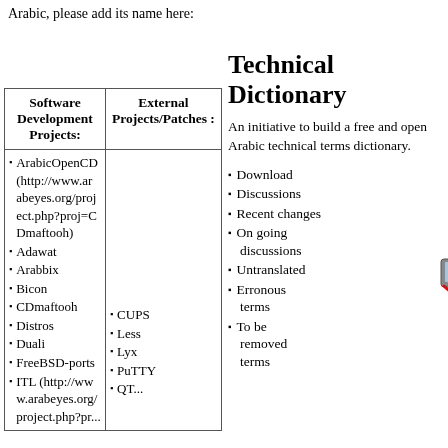Arabic, please add its name here:
Technical Dictionary
An initiative to build a free and open Arabic technical terms dictionary.
| Software Development Projects: | External Projects/Patches : |
| --- | --- |
| ArabicOpenCD (http://www.arabeyes.org/project.php?proj=CDmaftooh)
Adawat
Arabbix
Bicon
CDmaftooh
Distros
Duali
FreeBSD-ports
ITL (http://ww w.arabeyes.org/ project.php?... | CUPS
Less
Lyx
PuTTY
QT... |
Download
Discussions
Recent changes
On going discussions
Untranslated
Erronous terms
To be removed terms
[Figure (logo): Arabic technical dictionary logo with letter A and Arabic computer graphic]